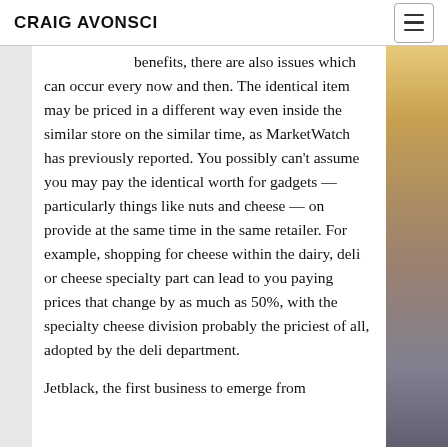CRAIG AVONSCI
benefits, there are also issues which can occur every now and then. The identical item may be priced in a different way even inside the similar store on the similar time, as MarketWatch has previously reported. You possibly can't assume you may pay the identical worth for gadgets — particularly things like nuts and cheese — on provide at the same time in the same retailer. For example, shopping for cheese within the dairy, deli or cheese specialty part can lead to you paying prices that change by as much as 50%, with the specialty cheese division probably the priciest of all, adopted by the deli department.
Jetblack, the first business to emerge from